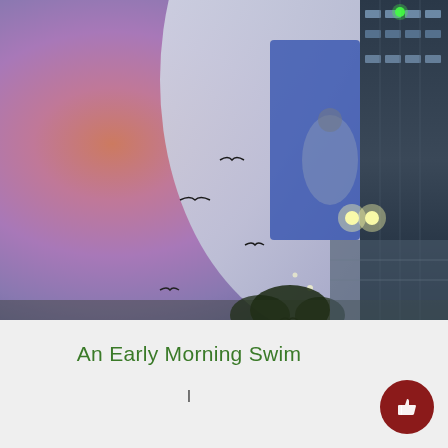[Figure (photo): An outdoor photo taken at dawn or dusk showing a wide view with a pink-purple gradient sky, a large dome-shaped arena or stadium building (partially visible) with blue signage reading 'SONICS', birds in flight silhouetted against the sky, bright stadium lights, trees at the bottom, and a glass-and-steel building facade visible on the right side.]
An Early Morning Swim
I